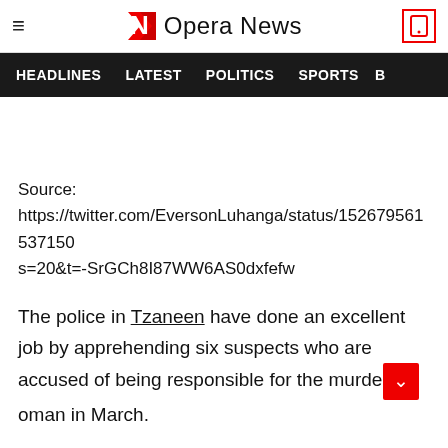Opera News
HEADLINES   LATEST   POLITICS   SPORTS   B
Source:
https://twitter.com/EversonLuhanga/status/152679561537150
s=20&t=-SrGCh8I87WW6AS0dxfefw
The police in Tzaneen have done an excellent job by apprehending six suspects who are accused of being responsible for the murder [of a w]oman in March.